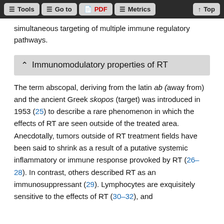Tools | Go to | PDF | Metrics | Top
simultaneous targeting of multiple immune regulatory pathways.
Immunomodulatory properties of RT
The term abscopal, deriving from the latin ab (away from) and the ancient Greek skopos (target) was introduced in 1953 (25) to describe a rare phenomenon in which the effects of RT are seen outside of the treated area. Anecdotally, tumors outside of RT treatment fields have been said to shrink as a result of a putative systemic inflammatory or immune response provoked by RT (26–28). In contrast, others described RT as an immunosuppressant (29). Lymphocytes are exquisitely sensitive to the effects of RT (30–32), and